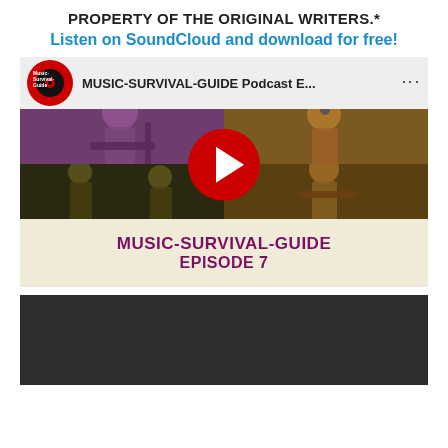PROPERTY OF THE ORIGINAL WRITERS.*
Listen on SoundCloud and download for free!
[Figure (screenshot): YouTube video thumbnail for MUSIC-SURVIVAL-GUIDE Podcast Episode 7, showing a collage of musicians with a YouTube play button overlay and the text MUSIC-SURVIVAL-GUIDE EPISODE 7 at the bottom.]
[Figure (screenshot): Dark/black rectangular area at the bottom, likely a SoundCloud audio player embed.]